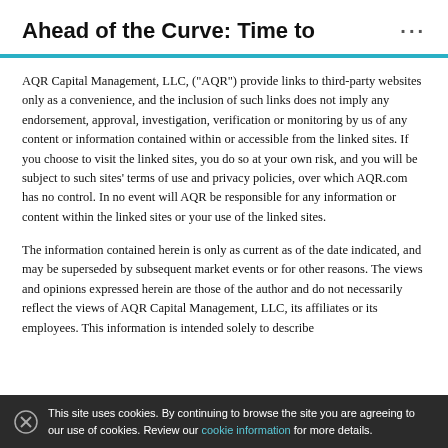Ahead of the Curve: Time to  ...
AQR Capital Management, LLC, (“AQR”) provide links to third-party websites only as a convenience, and the inclusion of such links does not imply any endorsement, approval, investigation, verification or monitoring by us of any content or information contained within or accessible from the linked sites. If you choose to visit the linked sites, you do so at your own risk, and you will be subject to such sites’ terms of use and privacy policies, over which AQR.com has no control. In no event will AQR be responsible for any information or content within the linked sites or your use of the linked sites.
The information contained herein is only as current as of the date indicated, and may be superseded by subsequent market events or for other reasons. The views and opinions expressed herein are those of the author and do not necessarily reflect the views of AQR Capital Management, LLC, its affiliates or its employees. This information is intended solely to describe...
This site uses cookies. By continuing to browse the site you are agreeing to our use of cookies. Review our cookie information for more details.